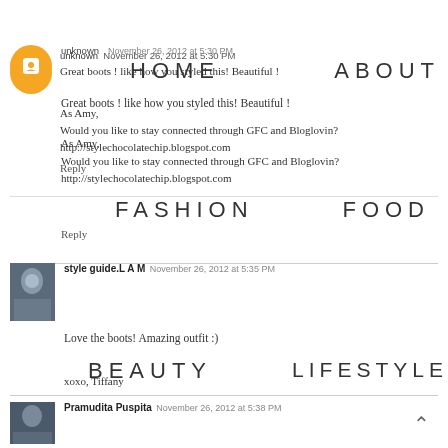HOME   ABOUT   FASHION   FOOD   BEAUTY   LIFESTYLE   CONTACT
unknown November 26, 2012 at 5:30 PM
Great boots ! like how you styled this! Beautiful !
As Amy,
Would you like to stay connected through GFC and Bloglovin?
http://stylechocolatechip.blogspot.com
Reply
style guide.L A M   November 26, 2012 at 5:35 PM
Love the boots! Amazing outfit :)
xoxo, Tiffany
http://lamstyleguide.blogspot.com/
Reply
Pramudita Puspita   November 26, 2012 at 5:38 PM